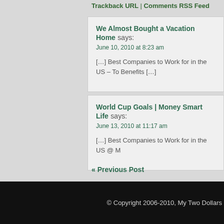Trackback URL | Comments RSS Feed
We Almost Bought a Vacation Home says:
June 10, 2010 at 8:23 am
[…] Best Companies to Work for in the US – To Benefits […]
World Cup Goals | Money Smart Life says:
June 13, 2010 at 11:17 am
[…] Best Companies to Work for in the US @ M
« Previous Post
© Copyright 2006-2010, My Two Dollars